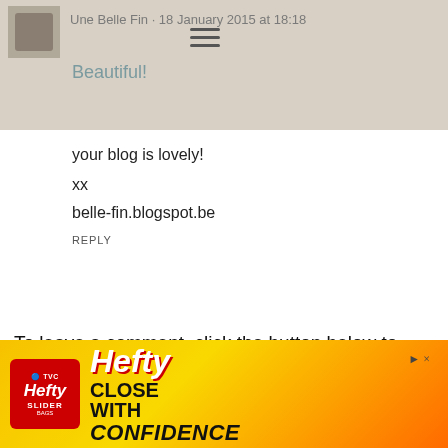Une Belle Fin · 18 January 2015 at 18:18
Beautiful!
your blog is lovely!
xx
belle-fin.blogspot.be
REPLY
To leave a comment, click the button below to sign in with Google.
SIGN IN WITH GOOGLE
thanks for stopping by- I love reading your comments!
I'll always reply so check back in a few days if you've
[Figure (screenshot): Hefty Slider Bags advertisement banner with red, orange, yellow gradient background. Shows Hefty logo, 'CLOSE WITH CONFIDENCE' text, and Hefty Slider Bags product image.]